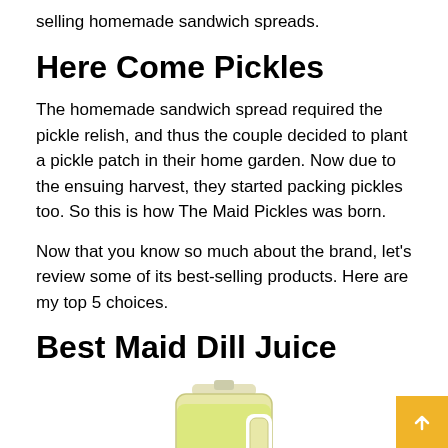selling homemade sandwich spreads.
Here Come Pickles
The homemade sandwich spread required the pickle relish, and thus the couple decided to plant a pickle patch in their home garden. Now due to the ensuing harvest, they started packing pickles too. So this is how The Maid Pickles was born.
Now that you know so much about the brand, let’s review some of its best-selling products. Here are my top 5 choices.
Best Maid Dill Juice
[Figure (photo): A large plastic jug/gallon container of Best Maid Dill Juice with a yellow-green label, containing pale yellow liquid.]